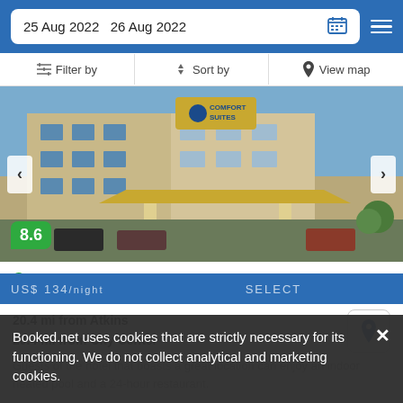25 Aug 2022  26 Aug 2022
Filter by  Sort by  View map
[Figure (photo): Exterior photo of Comfort Suites hotel with covered entrance/porte-cochere, beige multi-story building, blue sky, parking area]
8.6
Great
28 reviews
20.4 mi from Atkins
20.4 mi from City Center
Guests of the hotel that boasts a great location can enjoy an indoor heated pool and a 24-hour restaurant.
Booked.net uses cookies that are strictly necessary for its functioning. We do not collect analytical and marketing cookies.